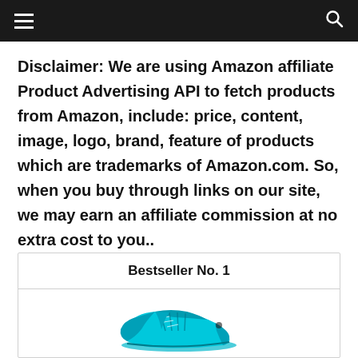Navigation bar with hamburger menu and search icon
Disclaimer: We are using Amazon affiliate Product Advertising API to fetch products from Amazon, include: price, content, image, logo, brand, feature of products which are trademarks of Amazon.com. So, when you buy through links on our site, we may earn an affiliate commission at no extra cost to you.. Read more.
Bestseller No. 1
[Figure (photo): Photo of a teal/turquoise athletic shoe (sneaker) partially visible at the bottom of the page]